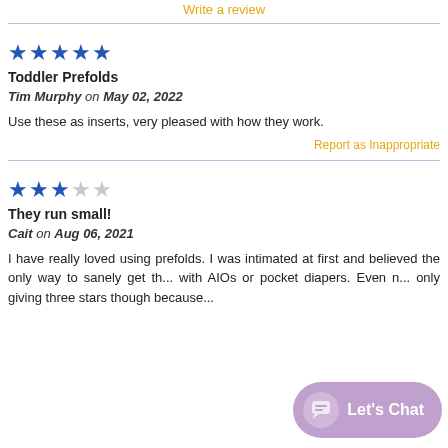Write a review
[Figure (other): 5 filled blue stars rating]
Toddler Prefolds
Tim Murphy on May 02, 2022
Use these as inserts, very pleased with how they work.
Report as Inappropriate
[Figure (other): 3 filled blue stars and 2 empty stars rating]
They run small!
Cait on Aug 06, 2021
I have really loved using prefolds. I was intimated at first and believed the only way to sanely get th... with AIOs or pocket diapers. Even n... only giving three stars though because...